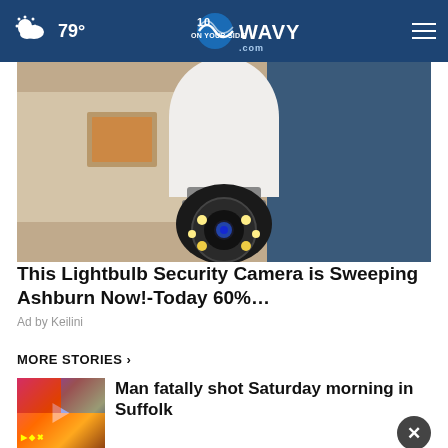79° WAVY.com On Your Side
[Figure (photo): A white lightbulb-shaped security camera with LED lights, mounted indoors against a blurred background.]
This Lightbulb Security Camera is Sweeping Ashburn Now!-Today 60%…
Ad by Keilini
MORE STORIES ›
Man fatally shot Saturday morning in Suffolk
[Figure (screenshot): Petco advertisement showing in-store shopping and curbside pickup options with checkmarks and navigation arrow icon.]